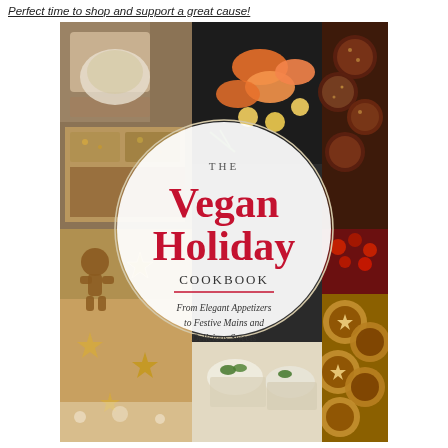Perfect time to shop and support a great cause!
[Figure (photo): Book cover of 'The Vegan Holiday Cookbook: From Elegant Appetizers to Festive Mains and Delicious Sweets'. Cover features a collage of holiday food photos including crackers, salmon appetizers, chocolate cookies, gingerbread, mince pies, and cream desserts arranged around a central white circular badge with the book title in red and grey text.]